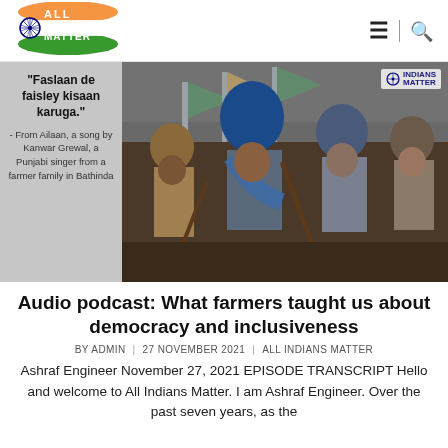[Figure (logo): All Indians Matter logo with Indian flag colors - saffron, white, green with Ashoka Chakra wheel]
[Figure (photo): Farmers sitting together in protest, wearing turbans and warm clothes, holding sticks. Overlaid with a quote in the grey left panel: 'Faslaan de faisley kisaan karuga.' - From Ailaan, a song by Kanwar Grewal, a Punjabi singer from a farmer family in Bathinda. Indians Matter watermark visible top right.]
Audio podcast: What farmers taught us about democracy and inclusiveness
BY ADMIN | 27 NOVEMBER 2021 | ALL INDIANS MATTER
Ashraf Engineer November 27, 2021 EPISODE TRANSCRIPT Hello and welcome to All Indians Matter. I am Ashraf Engineer. Over the past seven years, as the